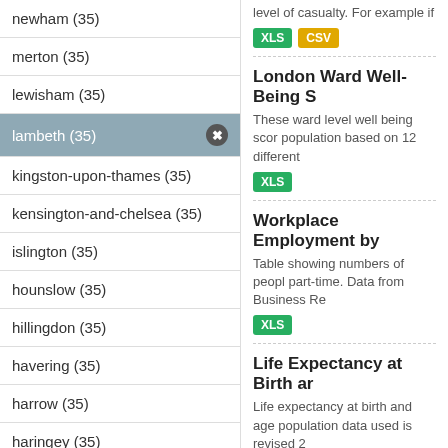newham (35)
merton (35)
lewisham (35)
lambeth (35)
kingston-upon-thames (35)
kensington-and-chelsea (35)
islington (35)
hounslow (35)
hillingdon (35)
havering (35)
harrow (35)
haringey (35)
hammersmith-and-fulham (35)
level of casualty. For example if
London Ward Well-Being S
These ward level well being scor population based on 12 different
Workplace Employment by
Table showing numbers of peopl part-time. Data from Business Re
Life Expectancy at Birth ar
Life expectancy at birth and age population data used is revised 2